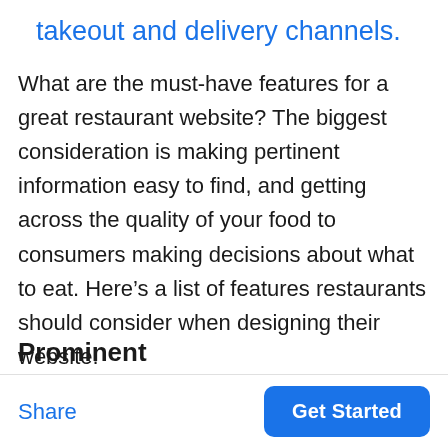takeout and delivery channels.
What are the must-have features for a great restaurant website? The biggest consideration is making pertinent information easy to find, and getting across the quality of your food to consumers making decisions about what to eat. Here’s a list of features restaurants should consider when designing their website.
Prominent
Share
Get Started